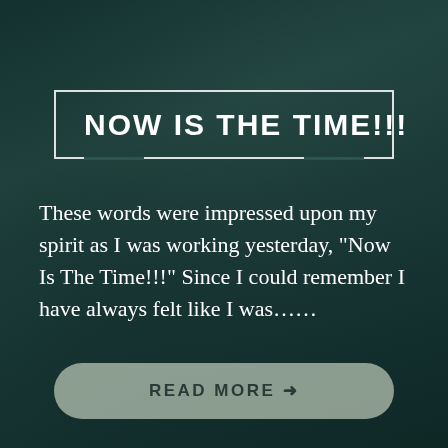NOW IS THE TIME!!!
These words were impressed upon my spirit as I was working yesterday, “Now Is The Time!!!” Since I could remember I have always felt like I was……
READ MORE →